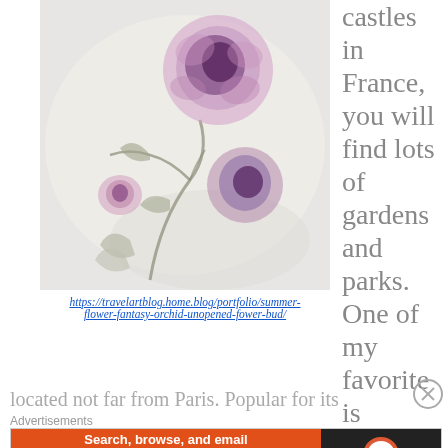[Figure (photo): Watercolor painting of purple/pink flowers (orchid or thistle-like blooms) on a light background, showing unopened flower buds and stems in muted gray-green tones]
https://travelartblog.home.blog/portfolio/summer-flower-fantasy-orchid-unopened-fower-bud/
castles in France, you will find lots of gardens and parks. One of my favorite is Château de Vaux-le-Vicomte, a small private palace of the 17th century,
located not far from Paris. Popular for its
Advertisements
[Figure (infographic): DuckDuckGo advertisement banner: orange section reads 'Search, browse, and email with more privacy.' with 'All in One Free App' button, dark section shows DuckDuckGo logo]